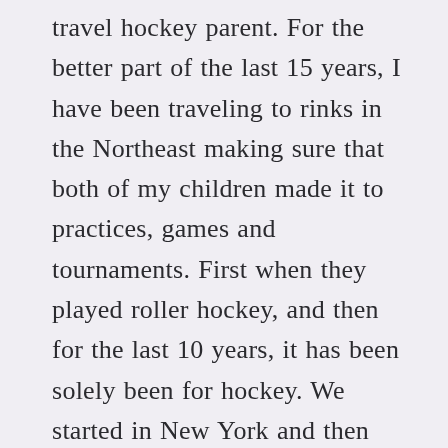travel hockey parent. For the better part of the last 15 years, I have been traveling to rinks in the Northeast making sure that both of my children made it to practices, games and tournaments. First when they played roller hockey, and then for the last 10 years, it has been solely been for hockey. We started in New York and then spent considerable time in Pennsylvania, New Jersey, Connecticut, Massachusetts and New Hampshire I have traveled the many highways and byways of these states at all hours of the day and night to clean rinks, filthy rinks and all rinks in between. All so my kids could play hockey.